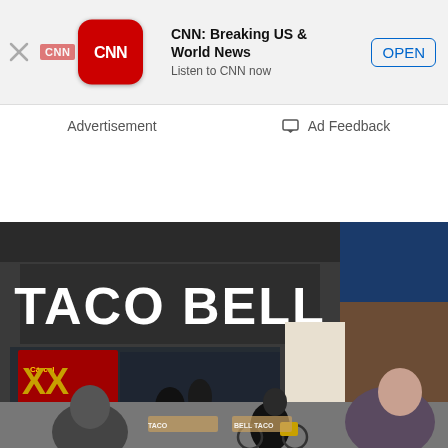[Figure (screenshot): CNN app banner advertisement with CNN logo icon, app name 'CNN: Breaking US & World News', subtitle 'Listen to CNN now', and OPEN button]
Advertisement
Ad Feedback
[Figure (photo): Street-level photo of a Taco Bell restaurant exterior with large white 'TACO BELL' sign on dark facade, Dos Equis XX beer advertisement in window, and pedestrians/cyclists in foreground]